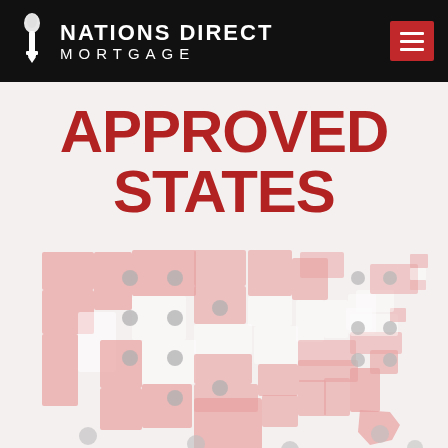NATIONS DIRECT MORTGAGE
APPROVED STATES
[Figure (map): Map of the United States showing approved states highlighted in light red/pink, with gray circles indicating state capitals or cities. Several states in the west and south are highlighted as approved lending states for Nations Direct Mortgage.]